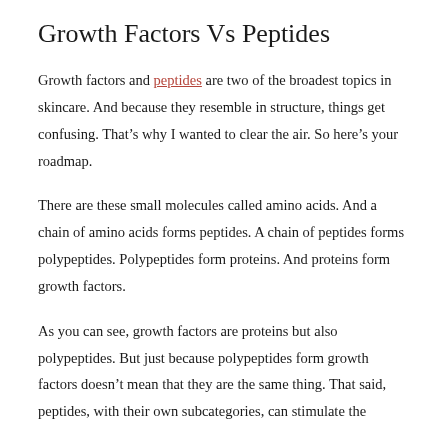Growth Factors Vs Peptides
Growth factors and peptides are two of the broadest topics in skincare. And because they resemble in structure, things get confusing. That’s why I wanted to clear the air. So here’s your roadmap.
There are these small molecules called amino acids. And a chain of amino acids forms peptides. A chain of peptides forms polypeptides. Polypeptides form proteins. And proteins form growth factors.
As you can see, growth factors are proteins but also polypeptides. But just because polypeptides form growth factors doesn’t mean that they are the same thing. That said, peptides, with their own subcategories, can stimulate the